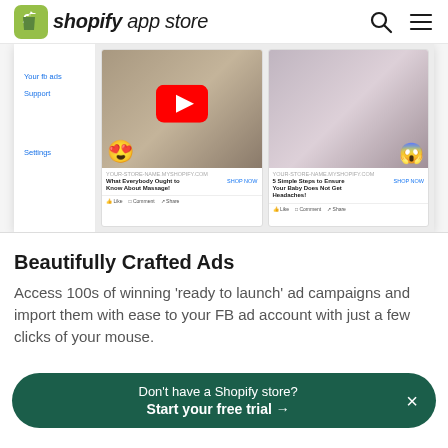shopify app store
[Figure (screenshot): Shopify app UI screenshot showing sidebar with 'Your fb ads', 'Support', 'Settings' links and two Facebook ad preview cards with a YouTube play button overlay on the left card. Left card shows a back stretcher product with heart-eyes emoji, right card shows a fan product with shocked emoji.]
Beautifully Crafted Ads
Access 100s of winning 'ready to launch' ad campaigns and import them with ease to your FB ad account with just a few clicks of your mouse.
Don't have a Shopify store?
Start your free trial →